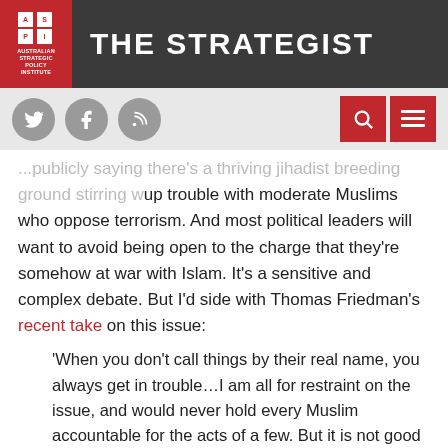THE STRATEGIST — Australian Strategic Policy Institute
...publicly saying there's a thriving jihadist breeding ground stirring up trouble with moderate Muslims who oppose terrorism. And most political leaders will want to avoid being open to the charge that they're somehow at war with Islam. It's a sensitive and complex debate. But I'd side with Thomas Friedman's recent take on this issue:
'When you don't call things by their real name, you always get in trouble…I am all for restraint on the issue, and would never hold every Muslim accountable for the acts of a few. But it is not good for us or the Muslim world to pretend that this spreading jihadist violence isn't coming out of their faith community. It is coming mostly, but not exclusively, from angry young men and preachers on the fringe of